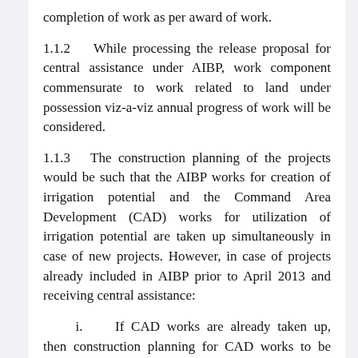completion of work as per award of work.
1.1.2  While processing the release proposal for central assistance under AIBP, work component commensurate to work related to land under possession viz-a-viz annual progress of work will be considered.
1.1.3  The construction planning of the projects would be such that the AIBP works for creation of irrigation potential and the Command Area Development (CAD) works for utilization of irrigation potential are taken up simultaneously in case of new projects. However, in case of projects already included in AIBP prior to April 2013 and receiving central assistance:
i.   If CAD works are already taken up, then construction planning for CAD works to be reviewed and modified by project authorities such that CAD works are completed within six months to one year of the completion of work under AIBP.